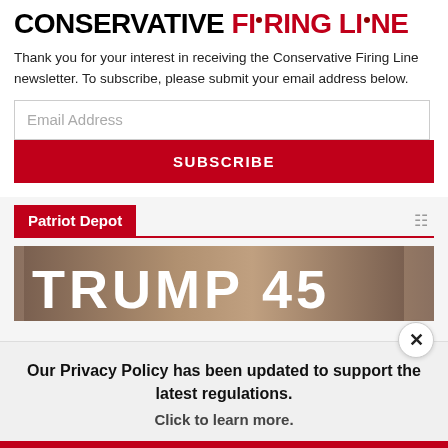[Figure (logo): Conservative Firing Line logo — 'CONSERVATIVE' in black bold uppercase, 'FIRING LINE' in red bold uppercase with bullet holes, all caps large text]
Thank you for your interest in receiving the Conservative Firing Line newsletter. To subscribe, please submit your email address below.
Email Address
SUBSCRIBE
Patriot Depot
[Figure (photo): Photo showing 'TRUMP 45' text in large white letters against a blurred background]
Our Privacy Policy has been updated to support the latest regulations. Click to learn more.